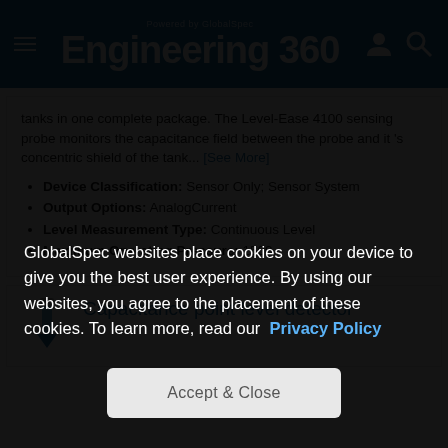Engineering 360 — Powered by GlobalSpec
tanks in one complete package. The Level-Ease 4100 sensing probe monitors the capacitance field between the probe and it 's concentric shield of the tank... [See More]
Device Classification: Sensor Only; Sensor System
Output Options: AnalogCurrent
Level Measurement Type: Continuous Level
Maximum Operating Pressure: 1500
Capacitance point level detector
GlobalSpec websites place cookies on your device to give you the best user experience. By using our websites, you agree to the placement of these cookies. To learn more, read our Privacy Policy
Accept & Close